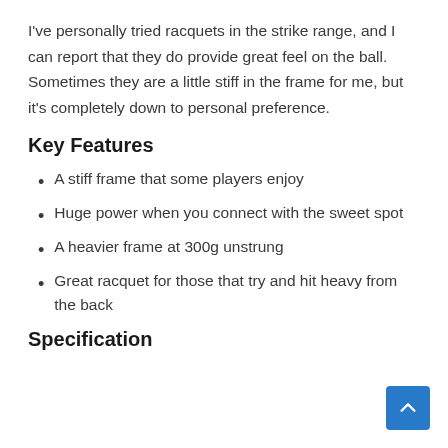I've personally tried racquets in the strike range, and I can report that they do provide great feel on the ball. Sometimes they are a little stiff in the frame for me, but it's completely down to personal preference.
Key Features
A stiff frame that some players enjoy
Huge power when you connect with the sweet spot
A heavier frame at 300g unstrung
Great racquet for those that try and hit heavy from the back
Specification